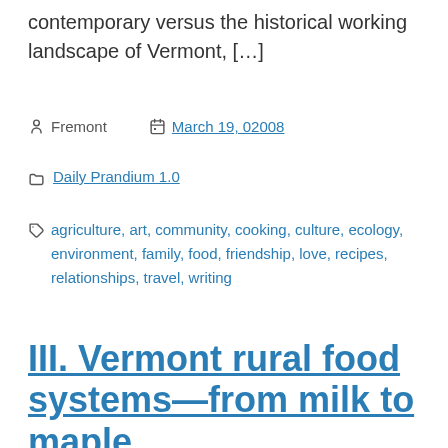contemporary versus the historical working landscape of Vermont, […]
Fremont   March 19, 02008
Daily Prandium 1.0
agriculture, art, community, cooking, culture, ecology, environment, family, food, friendship, love, recipes, relationships, travel, writing
III. Vermont rural food systems—from milk to maple